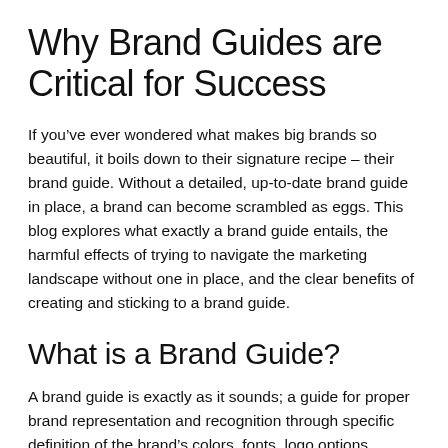Why Brand Guides are Critical for Success
If you've ever wondered what makes big brands so beautiful, it boils down to their signature recipe – their brand guide. Without a detailed, up-to-date brand guide in place, a brand can become scrambled as eggs. This blog explores what exactly a brand guide entails, the harmful effects of trying to navigate the marketing landscape without one in place, and the clear benefits of creating and sticking to a brand guide.
What is a Brand Guide?
A brand guide is exactly as it sounds; a guide for proper brand representation and recognition through specific definition of the brand's colors, fonts, logo options